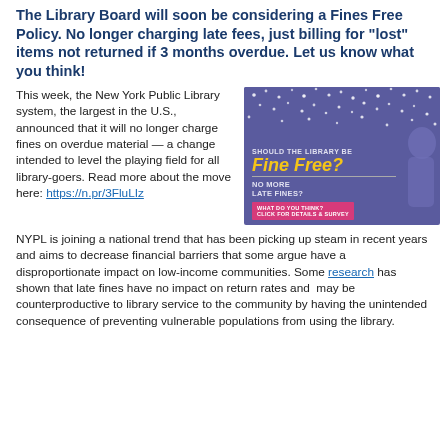The Library Board will soon be considering a Fines Free Policy. No longer charging late fees, just billing for "lost" items not returned if 3 months overdue. Let us know what you think!
This week, the New York Public Library system, the largest in the U.S., announced that it will no longer charge fines on overdue material — a change intended to level the playing field for all library-goers. Read more about the move here: https://n.pr/3FluLIz
[Figure (infographic): Purple/blue advertisement graphic asking 'SHOULD THE LIBRARY BE Fine Free? NO MORE LATE FINES? WHAT DO YOU THINK? CLICK FOR DETAILS & SURVEY' with white dot decorations and a person's silhouette on the right side.]
NYPL is joining a national trend that has been picking up steam in recent years and aims to decrease financial barriers that some argue have a disproportionate impact on low-income communities. Some research has shown that late fines have no impact on return rates and  may be counterproductive to library service to the community by having the unintended consequence of preventing vulnerable populations from using the library.